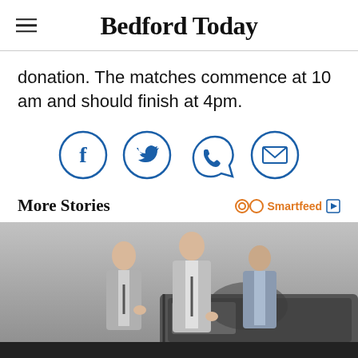Bedford Today
donation. The matches commence at 10 am and should finish at 4pm.
[Figure (infographic): Social sharing icons: Facebook, Twitter, WhatsApp, Email — each in a blue circle outline]
More Stories
[Figure (photo): Three men in suits standing around a car door in a studio setting, with a dark strip at the bottom of the page]